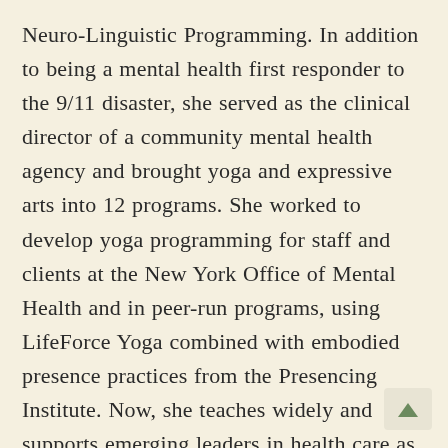Neuro-Linguistic Programming. In addition to being a mental health first responder to the 9/11 disaster, she served as the clinical director of a community mental health agency and brought yoga and expressive arts into 12 programs. She worked to develop yoga programming for staff and clients at the New York Office of Mental Health and in peer-run programs, using LifeForce Yoga combined with embodied presence practices from the Presencing Institute. Now, she teaches widely and supports emerging leaders in health care as well as business with mind-body integration coaching and mind-body program development. She blends LifeForce Yoga with other mind-body integration practices in